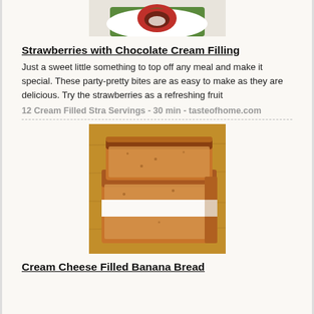[Figure (photo): Photo of strawberries with chocolate cream filling on a white plate with green garnish, partially visible at top of page]
Strawberries with Chocolate Cream Filling
Just a sweet little something to top off any meal and make it special. These party-pretty bites are as easy to make as they are delicious. Try the strawberries as a refreshing fruit
12 Cream Filled Stra Servings - 30 min - tasteofhome.com
[Figure (photo): Photo of sliced cream cheese filled banana bread on a wooden cutting board, showing the cream cheese layer in the middle]
Cream Cheese Filled Banana Bread